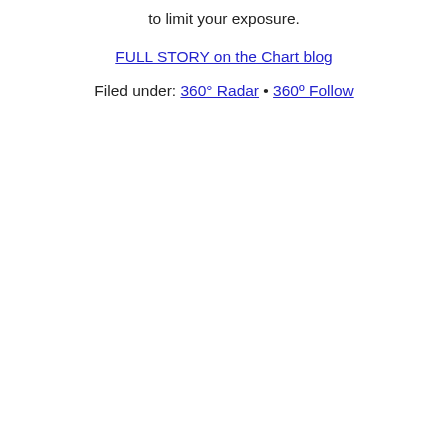to limit your exposure.
FULL STORY on the Chart blog
Filed under: 360° Radar • 360º Follow